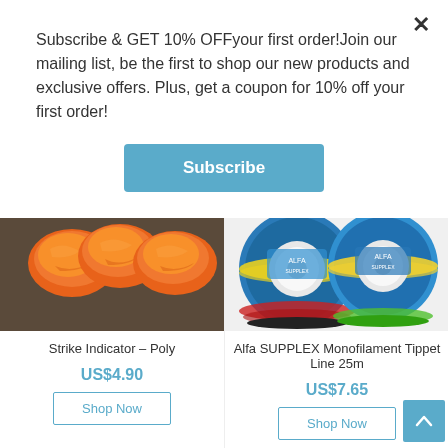Subscribe & GET 10% OFFyour first order!Join our mailing list, be the first to shop our new products and exclusive offers. Plus, get a coupon for 10% off your first order!
Subscribe
[Figure (photo): Orange poly strike indicators (fly fishing) lying on a dark surface]
Strike Indicator – Poly
US$4.90
Shop Now
[Figure (photo): Multiple colorful spools of Alfa SUPPLEX Monofilament fishing tippet line 25m]
Alfa SUPPLEX Monofilament Tippet Line 25m
US$7.65
Shop Now